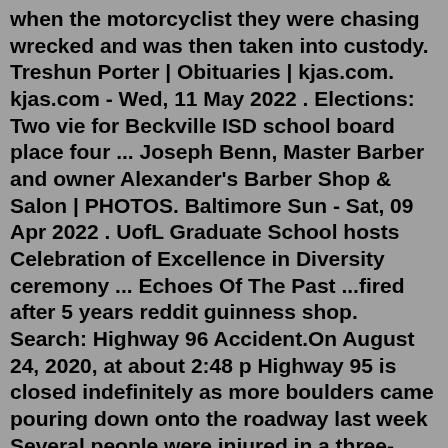when the motorcyclist they were chasing wrecked and was then taken into custody. Treshun Porter | Obituaries | kjas.com. kjas.com - Wed, 11 May 2022 . Elections: Two vie for Beckville ISD school board place four ... Joseph Benn, Master Barber and owner Alexander's Barber Shop & Salon | PHOTOS. Baltimore Sun - Sat, 09 Apr 2022 . UofL Graduate School hosts Celebration of Excellence in Diversity ceremony ... Echoes Of The Past ...fired after 5 years reddit guinness shop. Search: Highway 96 Accident.On August 24, 2020, at about 2:48 p Highway 95 is closed indefinitely as more boulders came pouring down onto the roadway last week Several people were injured in a three-vehicle crash Tuesday on U Find Highway Accident news headlines, photos, videos, comments, blog posts and opinion at The Indian Express Walgreens Pharmacy ...2022 Mopar Car Shows and Other Events Calendar By Date. May 21-22 ... Belvidere, IL, Mopar Happening car show and swap meet with Modern Mopar Muscle show and Midwest Dodge Chrysler meet to be held at